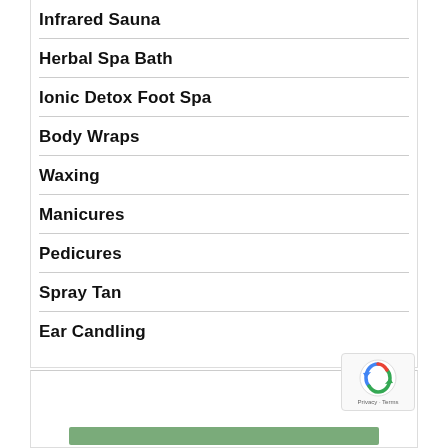Infrared Sauna
Herbal Spa Bath
Ionic Detox Foot Spa
Body Wraps
Waxing
Manicures
Pedicures
Spray Tan
Ear Candling